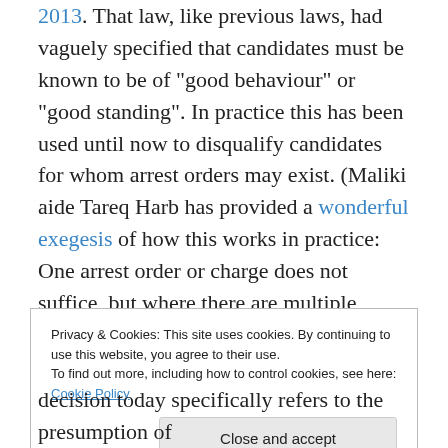2013. That law, like previous laws, had vaguely specified that candidates must be known to be of "good behaviour" or "good standing". In practice this has been used until now to disqualify candidates for whom arrest orders may exist. (Maliki aide Tareq Harb has provided a wonderful exegesis of how this works in practice: One arrest order or charge does not suffice, but where there are multiple orders this is used to disqualify!) The parliament decision today is emphatic that an actual conviction must have ensued for there to be legal grounds for barring a candidate.
Privacy & Cookies: This site uses cookies. By continuing to use this website, you agree to their use. To find out more, including how to control cookies, see here: Cookie Policy
decision today specifically refers to the presumption of